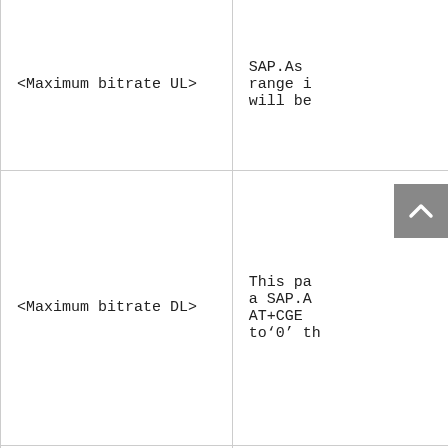| Parameter | Description |
| --- | --- |
| <Maximum bitrate UL> | SAP.As range i will be |
| <Maximum bitrate DL> | This pa a SAP.A AT+CGE to‘0’ th |
| <Guaranteed bitrate UL> | This pa SAP(pro 32(e.g.A to‘0’ th |
| <Guaranteed bitrate DL> | This pa SAP(pro 32(e.g.A to‘0’ th |